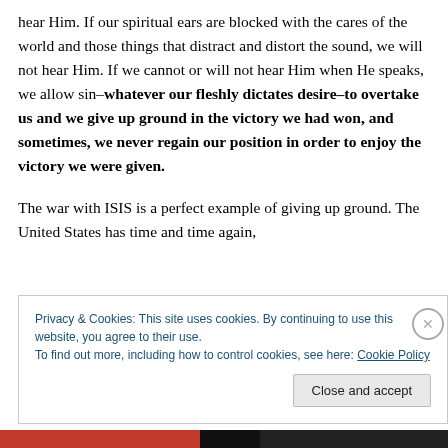hear Him. If our spiritual ears are blocked with the cares of the world and those things that distract and distort the sound, we will not hear Him. If we cannot or will not hear Him when He speaks, we allow sin–whatever our fleshly dictates desire–to overtake us and we give up ground in the victory we had won, and sometimes, we never regain our position in order to enjoy the victory we were given.
The war with ISIS is a perfect example of giving up ground. The United States has time and time again,
Privacy & Cookies: This site uses cookies. By continuing to use this website, you agree to their use.
To find out more, including how to control cookies, see here: Cookie Policy
Close and accept